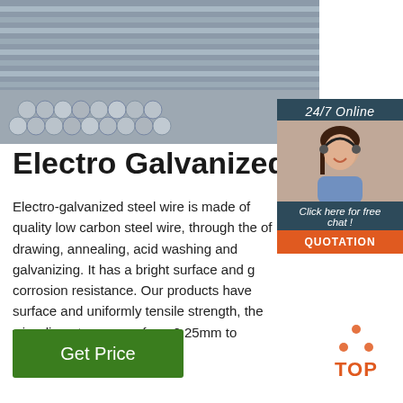[Figure (photo): Stack of electro galvanized iron/steel rods or bars, silvery metallic finish, product photo]
[Figure (photo): 24/7 Online chat widget with woman wearing headset, blue background, orange QUOTATION button]
Electro Galvanized Iron
Electro-galvanized steel wire is made of quality low carbon steel wire, through the of drawing, annealing, acid washing and galvanizing. It has a bright surface and g corrosion resistance. Our products have surface and uniformly tensile strength, the wire diameter ranges from 0.25mm to 4.5mm.
[Figure (logo): TOP logo with orange dotted triangle above the word TOP in orange]
Get Price